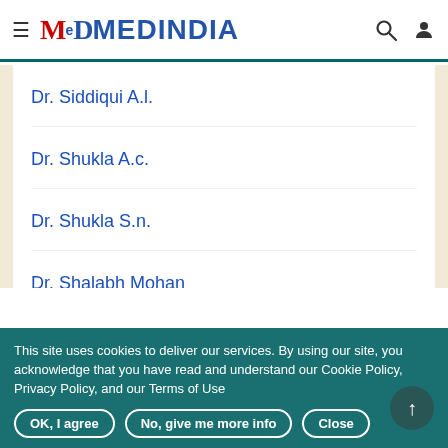MEDINDIA
Dr. Siddiqui A.l.
Dr. Shukla A.c.
Dr. Shukla S.n.
Dr. Shalabh Mohan
Dr. Shukla S.c.
This site uses cookies to deliver our services. By using our site, you acknowledge that you have read and understand our Cookie Policy, Privacy Policy, and our Terms of Use